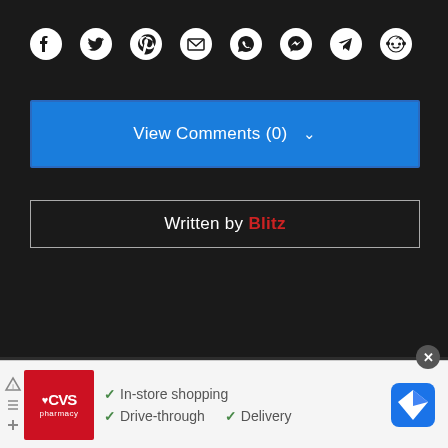[Figure (infographic): Row of social media share icons on dark background: Facebook, Twitter, Pinterest, Email, WhatsApp, Messenger, Telegram, Reddit — all white on dark]
[Figure (screenshot): Blue button labeled 'View Comments (0)' with a chevron dropdown indicator]
Written by Blitz
[Figure (infographic): CVS Pharmacy advertisement banner with logo and text: In-store shopping, Drive-through, Delivery with green checkmarks and Google Maps icon]